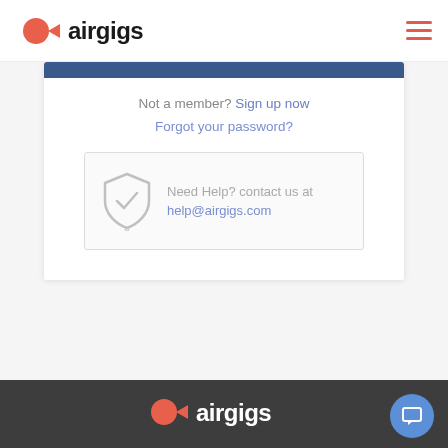[Figure (logo): Airgigs logo with orange circle and play button icon followed by 'airgigs' in bold black text]
[Figure (other): Hamburger menu icon (three horizontal red/orange lines)]
Not a member? Sign up now
Forgot your password?
Need Help? contact us at help@airgigs.com
[Figure (logo): Airgigs logo in white/light on dark footer background with orange circle and play button icon]